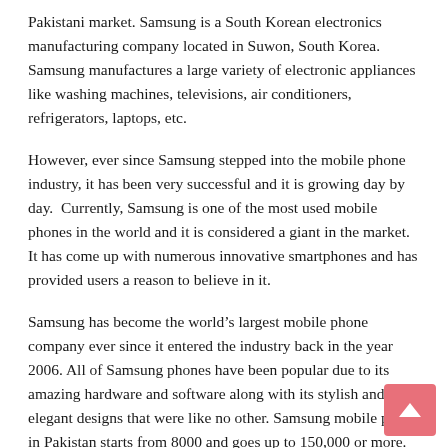Pakistani market. Samsung is a South Korean electronics manufacturing company located in Suwon, South Korea. Samsung manufactures a large variety of electronic appliances like washing machines, televisions, air conditioners, refrigerators, laptops, etc.
However, ever since Samsung stepped into the mobile phone industry, it has been very successful and it is growing day by day. Currently, Samsung is one of the most used mobile phones in the world and it is considered a giant in the market. It has come up with numerous innovative smartphones and has provided users a reason to believe in it.
Samsung has become the world’s largest mobile phone company ever since it entered the industry back in the year 2006. All of Samsung phones have been popular due to its amazing hardware and software along with its stylish and elegant designs that were like no other. Samsung mobile price in Pakistan starts from 8000 and goes up to 150,000 or more.
Pakistani market has been very lucrative for Samsung because people in Pakistan now trust this service a lot. 7 out of